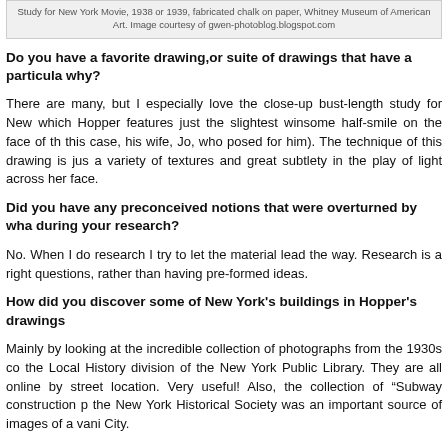Study for New York Movie, 1938 or 1939, fabricated chalk on paper, Whitney Museum of American Art. Image courtesy of gwen-photoblog.blogspot.com
Do you have a favorite drawing, or suite of drawings that have a particular why?
There are many, but I especially love the close-up bust-length study for New York Movie, which Hopper features just the slightest winsome half-smile on the face of the usherette (in this case, his wife, Jo, who posed for him). The technique of this drawing is just exquisite, with a variety of textures and great subtlety in the play of light across her face.
Did you have any preconceived notions that were overturned by what you found during your research?
No. When I do research I try to let the material lead the way. Research is about asking the right questions, rather than having pre-formed ideas.
How did you discover some of New York's buildings in Hopper's drawings?
Mainly by looking at the incredible collection of photographs from the 1930s contained in the Local History division of the New York Public Library. They are all online and searchable by street location. Very useful! Also, the collection of "Subway construction photographs" at the New York Historical Society was an important source of images of a vanished New York City.